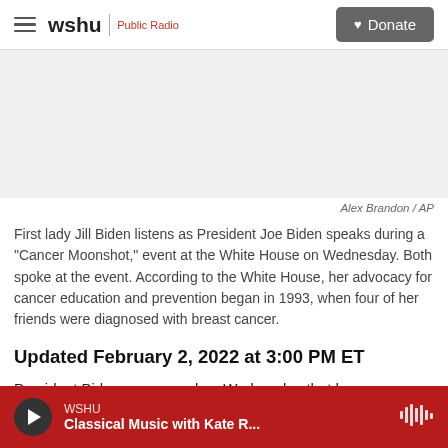wshu Public Radio — Donate
[Figure (photo): Photo placeholder area — image of First Lady Jill Biden and President Joe Biden at the Cancer Moonshot event at the White House]
Alex Brandon / AP
First lady Jill Biden listens as President Joe Biden speaks during a "Cancer Moonshot," event at the White House on Wednesday. Both spoke at the event. According to the White House, her advocacy for cancer education and prevention began in 1993, when four of her friends were diagnosed with breast cancer.
Updated February 2, 2022 at 3:00 PM ET
President Biden announced on Wednesday that he
WSHU — Classical Music with Kate R...